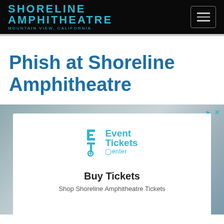[Figure (logo): Shoreline Amphitheatre logo - Mountain View, California in teal/cyan text on black background]
Phish at Shoreline Amphitheatre
[Figure (infographic): Advertisement card for Event Tickets Center with 'Buy Tickets' heading and 'Shop Shoreline Amphitheatre Tickets' subtext, white card on blurred grey-teal background]